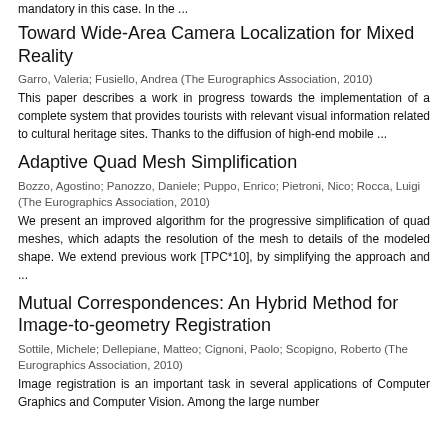mandatory in this case. In the ...
Toward Wide-Area Camera Localization for Mixed Reality
Garro, Valeria; Fusiello, Andrea (The Eurographics Association, 2010)
This paper describes a work in progress towards the implementation of a complete system that provides tourists with relevant visual information related to cultural heritage sites. Thanks to the diffusion of high-end mobile ...
Adaptive Quad Mesh Simplification
Bozzo, Agostino; Panozzo, Daniele; Puppo, Enrico; Pietroni, Nico; Rocca, Luigi (The Eurographics Association, 2010)
We present an improved algorithm for the progressive simplification of quad meshes, which adapts the resolution of the mesh to details of the modeled shape. We extend previous work [TPC*10], by simplifying the approach and ...
Mutual Correspondences: An Hybrid Method for Image-to-geometry Registration
Sottile, Michele; Dellepiane, Matteo; Cignoni, Paolo; Scopigno, Roberto (The Eurographics Association, 2010)
Image registration is an important task in several applications of Computer Graphics and Computer Vision. Among the large number